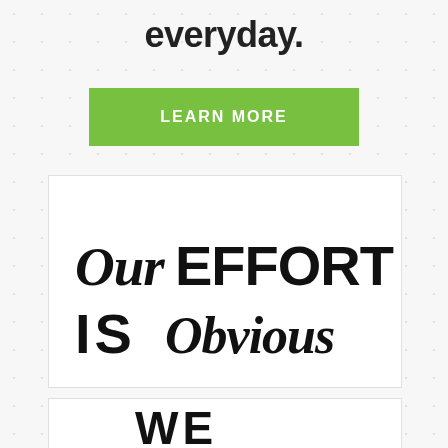everyday.
LEARN MORE
[Figure (illustration): White card with stylized mixed-font text reading 'Our EFFORT IS Obvious']
[Figure (illustration): White card partially visible at bottom with stylized text beginning 'WE']